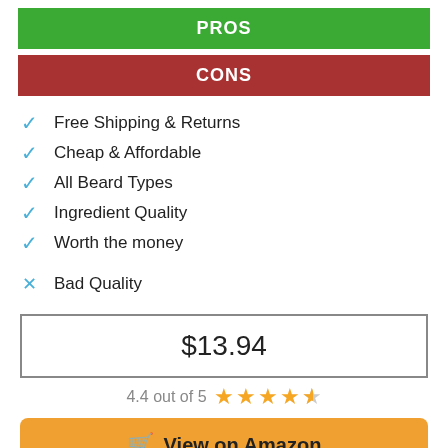PROS
CONS
Free Shipping & Returns
Cheap & Affordable
All Beard Types
Ingredient Quality
Worth the money
Bad Quality
$13.94
4.4 out of 5
View on Amazon